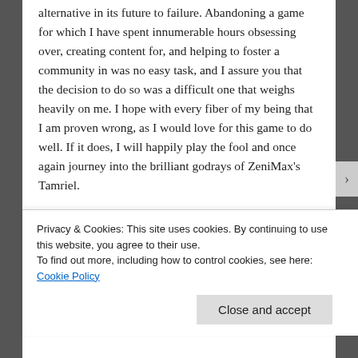alternative in its future to failure. Abandoning a game for which I have spent innumerable hours obsessing over, creating content for, and helping to foster a community in was no easy task, and I assure you that the decision to do so was a difficult one that weighs heavily on me. I hope with every fiber of my being that I am proven wrong, as I would love for this game to do well. If it does, I will happily play the fool and once again journey into the brilliant godrays of ZeniMax's Tamriel.
For my final word on The Elder Scrolls Online, I would like to urge readers who agree with me to not cause trouble for the ZeniMax team. Though
Privacy & Cookies: This site uses cookies. By continuing to use this website, you agree to their use.
To find out more, including how to control cookies, see here: Cookie Policy
Close and accept